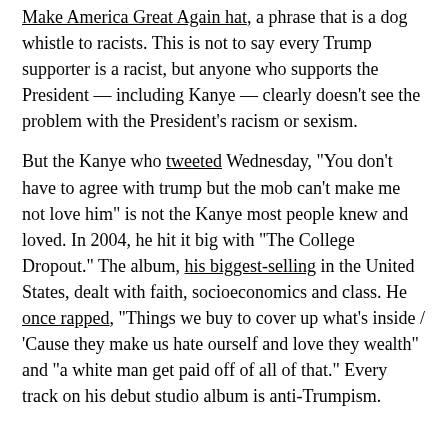Make America Great Again hat, a phrase that is a dog whistle to racists. This is not to say every Trump supporter is a racist, but anyone who supports the President — including Kanye — clearly doesn't see the problem with the President's racism or sexism.
But the Kanye who tweeted Wednesday, "You don't have to agree with trump but the mob can't make me not love him" is not the Kanye most people knew and loved. In 2004, he hit it big with "The College Dropout." The album, his biggest-selling in the United States, dealt with faith, socioeconomics and class. He once rapped, "Things we buy to cover up what's inside / 'Cause they make us hate ourself and love they wealth" and "a white man get paid off of all of that." Every track on his debut studio album is anti-Trumpism.